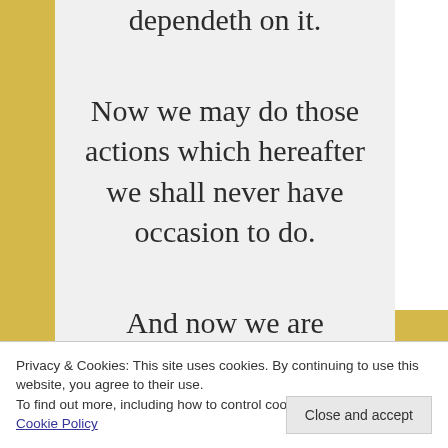dependeth on it.

Now we may do those actions which hereafter we shall never have occasion to do.

And now we are
Privacy & Cookies: This site uses cookies. By continuing to use this website, you agree to their use.
To find out more, including how to control cookies, see here:
Cookie Policy
Close and accept